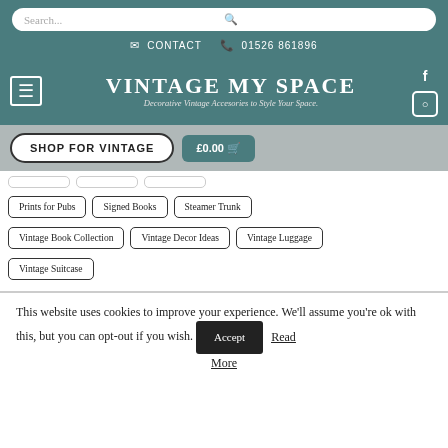Search...
CONTACT  01526 861896
VINTAGE MY SPACE
Decorative Vintage Accesories to Style Your Space.
SHOP FOR VINTAGE
£0.00
Prints for Pubs
Signed Books
Steamer Trunk
Vintage Book Collection
Vintage Decor Ideas
Vintage Luggage
Vintage Suitcase
This website uses cookies to improve your experience. We'll assume you're ok with this, but you can opt-out if you wish.
Accept
Read More